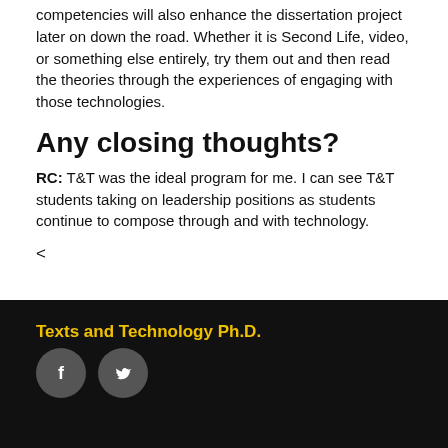competencies will also enhance the dissertation project later on down the road. Whether it is Second Life, video, or something else entirely, try them out and then read the theories through the experiences of engaging with those technologies.
Any closing thoughts?
RC: T&T was the ideal program for me. I can see T&T students taking on leadership positions as students continue to compose through and with technology.
<
Texts and Technology Ph.D.